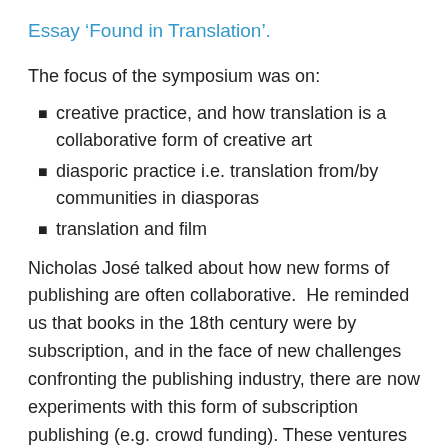Essay ‘Found in Translation’.
The focus of the symposium was on:
creative practice, and how translation is a collaborative form of creative art
diasporic practice i.e. translation from/by communities in diasporas
translation and film
Nicholas José talked about how new forms of publishing are often collaborative.  He reminded us that books in the 18th century were by subscription, and in the face of new challenges confronting the publishing industry, there are now experiments with this form of subscription publishing (e.g. crowd funding). These ventures hope to capitalise on and support a new interest in world literature, partly driven